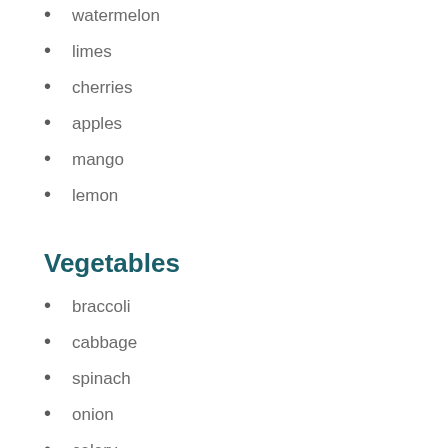watermelon
limes
cherries
apples
mango
lemon
Vegetables
braccoli
cabbage
spinach
onion
celery
lettuce
winter squash
watercress
legumes